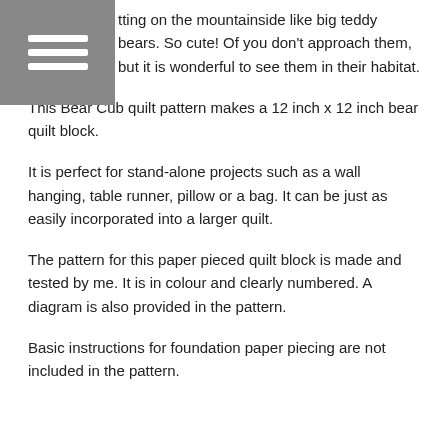[Figure (other): Hamburger menu icon (three horizontal white lines on grey square background)]
tting on the mountainside like big teddy bears. So cute! Of you don't approach them, but it is wonderful to see them in their habitat.
This Bear Cub quilt pattern makes a 12 inch x 12 inch bear quilt block.
It is perfect for stand-alone projects such as a wall hanging, table runner, pillow or a bag. It can be just as easily incorporated into a larger quilt.
The pattern for this paper pieced quilt block is made and tested by me. It is in colour and clearly numbered. A diagram is also provided in the pattern.
Basic instructions for foundation paper piecing are not included in the pattern.